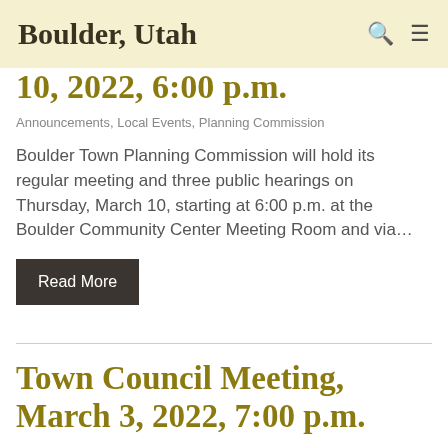Boulder, Utah
10, 2022, 6:00 p.m.
Announcements, Local Events, Planning Commission
Boulder Town Planning Commission will hold its regular meeting and three public hearings on Thursday, March 10, starting at 6:00 p.m. at the Boulder Community Center Meeting Room and via…
Read More
Town Council Meeting, March 3, 2022, 7:00 p.m.